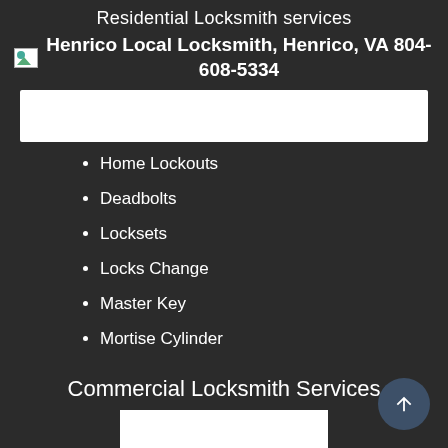Residential Locksmith services
[Figure (photo): Broken image placeholder for Henrico Local Locksmith, Henrico, VA 804-608-5334 with white rectangle below]
Home Lockouts
Deadbolts
Locksets
Locks Change
Master Key
Mortise Cylinder
Commercial Locksmith Services
[Figure (photo): White rectangle image placeholder for commercial locksmith section]